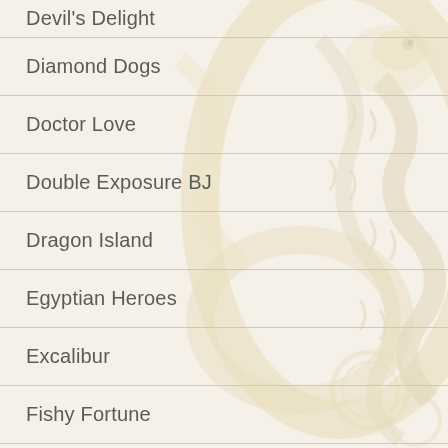Devil's Delight
Diamond Dogs
Doctor Love
Double Exposure BJ
Dragon Island
Egyptian Heroes
Excalibur
Fishy Fortune
Flowers
Football Cup Scratch
Fortuna Scratch
Fortune Teller
Frankenstein
French Roulette